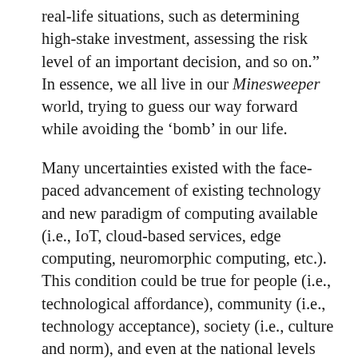real-life situations, such as determining high-stake investment, assessing the risk level of an important decision, and so on.” In essence, we all live in our Minesweeper world, trying to guess our way forward while avoiding the ‘bomb’ in our life.
Many uncertainties existed with the face-paced advancement of existing technology and new paradigm of computing available (i.e., IoT, cloud-based services, edge computing, neuromorphic computing, etc.). This condition could be true for people (i.e., technological affordance), community (i.e., technology acceptance), society (i.e., culture and norm), and even at the national levels (i.e., policy and rules changes). “Every day human activity involves a lot of ‘game’ and ‘puzzle’ conditions. However, mapping the solvability paradigm at scale, boundary conditions between the known and the unknown can be